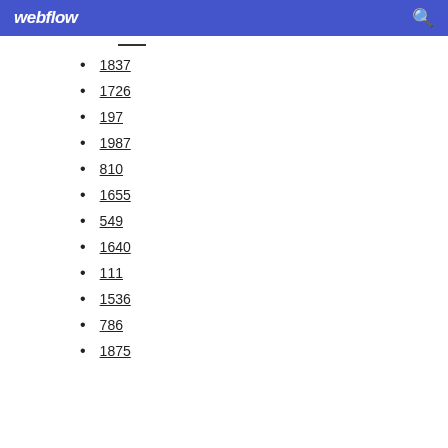webflow
1837
1726
197
1987
810
1655
549
1640
111
1536
786
1875